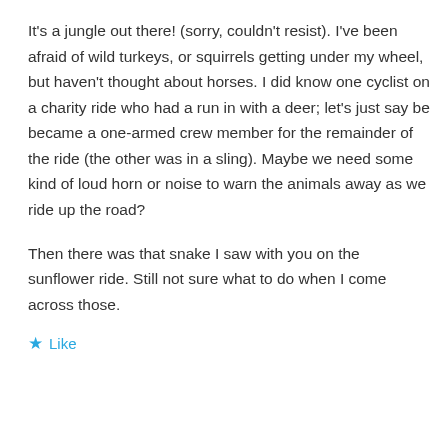It's a jungle out there! (sorry, couldn't resist). I've been afraid of wild turkeys, or squirrels getting under my wheel, but haven't thought about horses. I did know one cyclist on a charity ride who had a run in with a deer; let's just say be became a one-armed crew member for the remainder of the ride (the other was in a sling). Maybe we need some kind of loud horn or noise to warn the animals away as we ride up the road?
Then there was that snake I saw with you on the sunflower ride. Still not sure what to do when I come across those.
★ Like